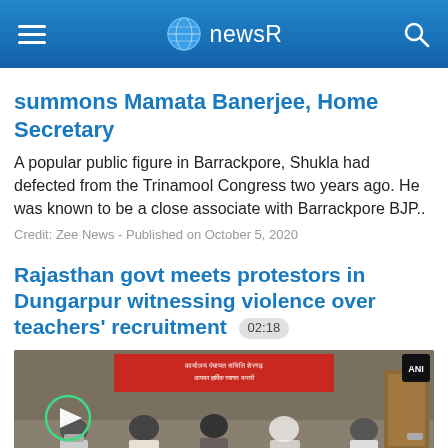newsR
summons Mamata Banerjee, Home Secretary
A popular public figure in Barrackpore, Shukla had defected from the Trinamool Congress two years ago. He was known to be a close associate with Barrackpore BJP..
Credit: Zee News - Published on October 5, 2020
Rajasthan govt meets protestors in Dungarpur witnessing violence over teachers' recruitment 02:18
[Figure (photo): Video thumbnail showing a meeting room with people gathered, a banner with Hindi text visible in the background, a play button overlay on the left side.]